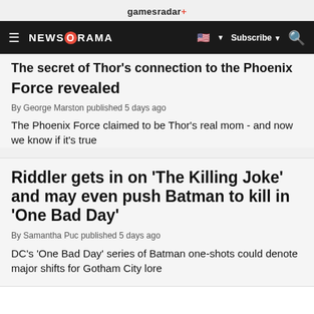gamesradar+
NEWSARAMA  Subscribe
The secret of Thor's connection to the Phoenix Force revealed
By George Marston published 5 days ago
The Phoenix Force claimed to be Thor's real mom - and now we know if it's true
Riddler gets in on 'The Killing Joke' and may even push Batman to kill in 'One Bad Day'
By Samantha Puc published 5 days ago
DC's 'One Bad Day' series of Batman one-shots could denote major shifts for Gotham City lore